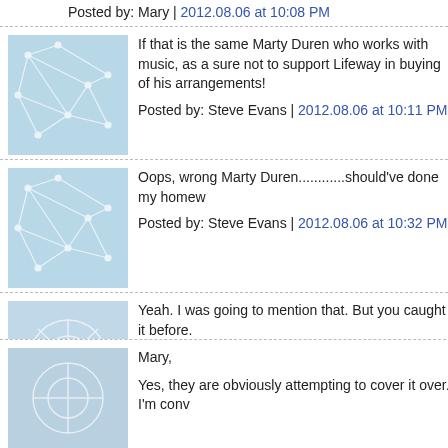Posted by: Mary | 2012.08.06 at 10:08 PM
[Figure (illustration): Blue abstract network avatar icon]
If that is the same Marty Duren who works with music, as a sure not to support Lifeway in buying of his arrangements!
Posted by: Steve Evans | 2012.08.06 at 10:11 PM
[Figure (illustration): Blue abstract network avatar icon]
Oops, wrong Marty Duren............should've done my homew
Posted by: Steve Evans | 2012.08.06 at 10:32 PM
[Figure (illustration): Blue abstract network avatar icon]
Yeah. I was going to mention that. But you caught it before. Lord bless, Steve.

With that, I am...
Peter
Posted by: peter lumpkins | 2012.08.06 at 10:38 PM
[Figure (illustration): Blue abstract network avatar icon]
Mary,

Yes, they are obviously attempting to cover it over. I'm conv